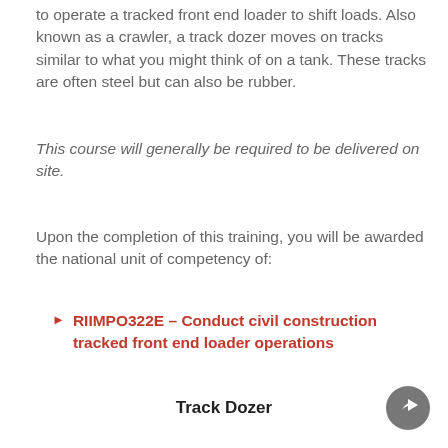to operate a tracked front end loader to shift loads. Also known as a crawler, a track dozer moves on tracks similar to what you might think of on a tank. These tracks are often steel but can also be rubber.
This course will generally be required to be delivered on site.
Upon the completion of this training, you will be awarded the national unit of competency of:
RIIMPO322E – Conduct civil construction tracked front end loader operations
Track Dozer